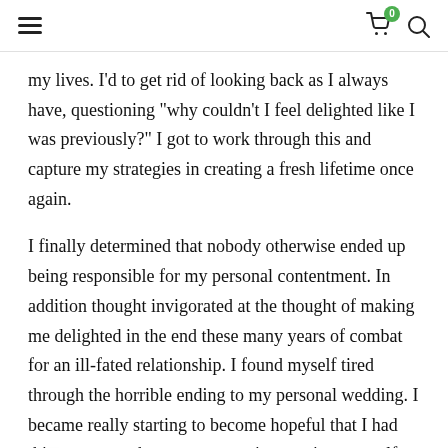Navigation header with hamburger menu, cart icon with badge (0), and search icon
my lives. I’d to get rid of looking back as I always have, questioning “why couldn’t I feel delighted like I was previously?” I got to work through this and capture my strategies in creating a fresh lifetime once again.
I finally determined that nobody otherwise ended up being responsible for my personal contentment. In addition thought invigorated at the thought of making me delighted in the end these many years of combat for an ill-fated relationship. I found myself tired through the horrible ending to my personal wedding. I became really starting to become hopeful that I had this awesome chance at generating a unique myself once more! “Maybe i p…ou.” Contact us …ecome pleased!” I was thinking.
But what really does that mean? It means different things to